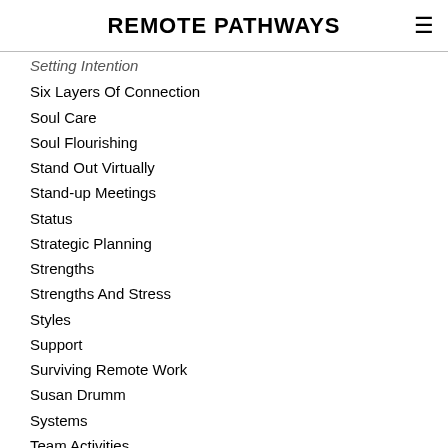REMOTE PATHWAYS
Setting Intention
Six Layers Of Connection
Soul Care
Soul Flourishing
Stand Out Virtually
Stand-up Meetings
Status
Strategic Planning
Strengths
Strengths And Stress
Styles
Support
Surviving Remote Work
Susan Drumm
Systems
Team Activities
Team Culture